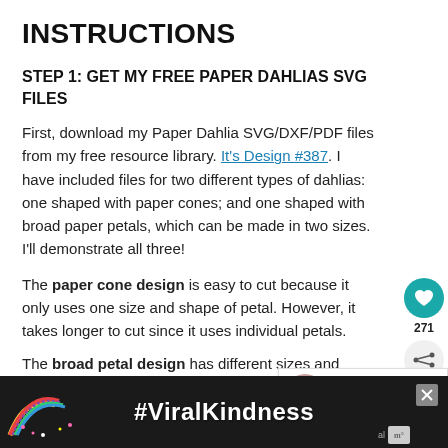INSTRUCTIONS
STEP 1: GET MY FREE PAPER DAHLIAS SVG FILES
First, download my Paper Dahlia SVG/DXF/PDF files from my free resource library. It's Design #387. I have included files for two different types of dahlias: one shaped with paper cones; and one shaped with broad paper petals, which can be made in two sizes. I'll demonstrate all three!
The paper cone design is easy to cut because it only uses one size and shape of petal. However, it takes longer to cut since it uses individual petals.
The broad petal design has different sizes and
[Figure (infographic): Sidebar with heart/like button (teal circle with heart icon), count 271, and share button]
[Figure (infographic): What's Next widget showing JenniferMaker Libraries with a pink rose thumbnail]
[Figure (infographic): Advertisement banner at bottom: dark background with rainbow illustration and #ViralKindness text in white, with X close button]